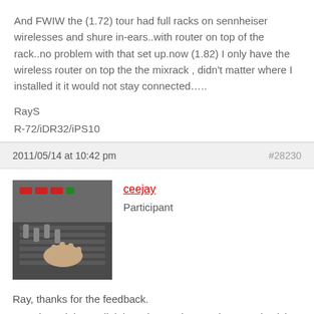And FWIW the (1.72) tour had full racks on sennheiser wirelesses and shure in-ears..with router on top of the rack..no problem with that set up.now (1.82) I only have the wireless router on top the the mixrack , didn't matter where I installed it it would not stay connected…..
RayS
R-72/iDR32/iPS10
2011/05/14 at 10:42 pm
#28230
[Figure (photo): Avatar image of user ceejay showing a hand on a mixing console]
ceejay
Participant
Ray, thanks for the feedback.
I purchased the TP link knowing my laptop nic can only pick up a 2.4 GHZ Connection.
That replaced my Airport router that did not support IGMP.
Now that I have the IGMP support with the TP, I will need to switch it out again and purchase a dual band router and will have to pick up a